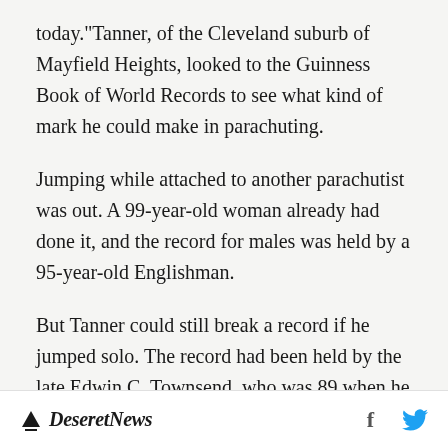today."Tanner, of the Cleveland suburb of Mayfield Heights, looked to the Guinness Book of World Records to see what kind of mark he could make in parachuting.
Jumping while attached to another parachutist was out. A 99-year-old woman already had done it, and the record for males was held by a 95-year-old Englishman.
But Tanner could still break a record if he jumped solo. The record had been held by the late Edwin C. Townsend, who was 89 when he jumped in Louisiana in 1986.
Deseret News